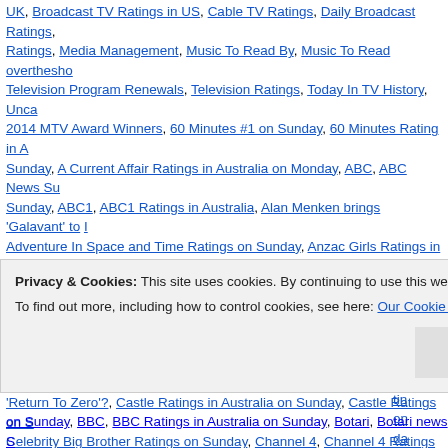UK, Broadcast TV Ratings in US, Cable TV Ratings, Daily Broadcast Ratings, Ratings, Media Management, Music To Read By, Music To Read overthesho Television Program Renewals, Television Ratings, Today In TV History, Unca 2014 MTV Award Winners, 60 Minutes #1 on Sunday, 60 Minutes Rating in A Sunday, A Current Affair Ratings in Australia on Monday, ABC, ABC News Su Sunday, ABC1, ABC1 Ratings in Australia, Alan Menken brings 'Galavant' to Adventure In Space and Time Ratings on Sunday, Anzac Girls Ratings in Au Sunday, Audience Analysis, Audience Behavior, Audience Measurement, Au BBC One #1 in the UK on Sunday, BBC One Ratings on Sunday, BBC Two, B Ratings on Sunday, Bob's Burgers Ratings on Sunday, Can Minnie Driver wir 'Return To Zero'?, Castle Ratings in Australia on Sunday, Castle Ratings on S Celebrity Big Brother Ratings on Sunday, Channel 4, Channel 4 Ratings on S Sunday, Cincinnati Bengals Ratings on Sunday, CNA|SOPHIS, Come On Do Sunday, Concentration, Countryfile #1 in the UK on Sunday, Countryfile Ratir Sunday, Digital, Direct, Dragons' Den Ratings on Sunday, E4, E4 Ratings on Sunday, Family Guy Ratings on Sunday, Formula 1: The Belgium Grand Prix Ratings on Sunday, Hoagy Carmichael singing his original version of 'Stardus ITV, ITV Ratings on Sunday, James May's 'Cars of the People Ratings on Su
Privacy & Cookies: This site uses cookies. By continuing to use this website, you agree to their use. To find out more, including how to control cookies, see here: Our Cookie Policy